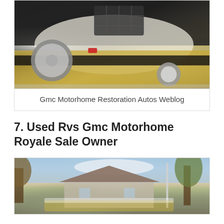[Figure (photo): Rear view of a GMC motorhome in gold and cream colors with spare tire mounted on the back, parked in what appears to be a garage or showroom]
Gmc Motorhome Restoration Autos Weblog
7. Used Rvs Gmc Motorhome Royale Sale Owner
[Figure (photo): Outdoor photo of a motorhome parked near a house with trees in the background during autumn]